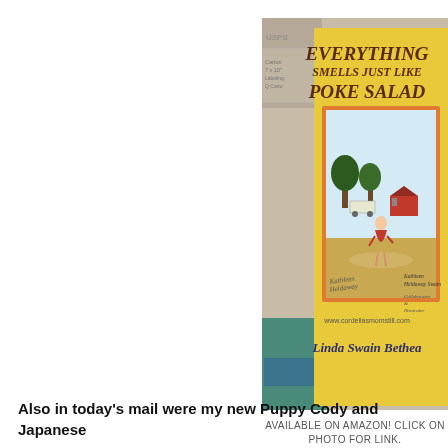[Figure (photo): Photo of the book 'Everything Smells Just Like Poke Salad' by Linda Swain Bethea, with collaborator and illustrator Kathleen Heldaway Swain. The yellow book cover features a child in a red dress in a rural field with trees and a red barn. Website www.cordeliasmomstill.com shown at bottom of cover. Book is propped against USPS shipping boxes.]
AVAILABLE ON AMAZON! CLICK ON PHOTO FOR LINK.
Also in today's mail were my new Puppy Cody and Japanese